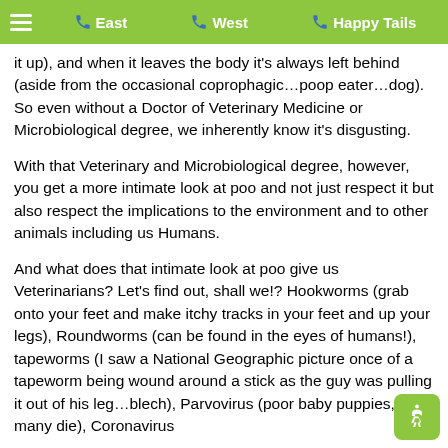East | West | Happy Tails
it up), and when it leaves the body it's always left behind (aside from the occasional coprophagic…poop eater…dog). So even without a Doctor of Veterinary Medicine or Microbiological degree, we inherently know it's disgusting.
With that Veterinary and Microbiological degree, however, you get a more intimate look at poo and not just respect it but also respect the implications to the environment and to other animals including us Humans.
And what does that intimate look at poo give us Veterinarians? Let's find out, shall we!? Hookworms (grab onto your feet and make itchy tracks in your feet and up your legs), Roundworms (can be found in the eyes of humans!), tapeworms (I saw a National Geographic picture once of a tapeworm being wound around a stick as the guy was pulling it out of his leg…blech), Parvovirus (poor baby puppies, many die), Coronavirus